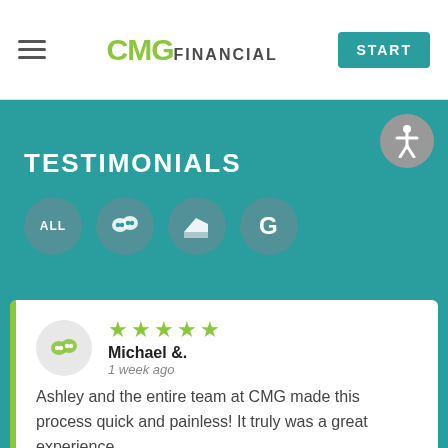CMG FINANCIAL
TESTIMONIALS
[Figure (screenshot): Filter buttons row: ALL, speech bubble icon, Zillow icon, Google G icon]
★★★★★
Michael &.
1 week ago

Ashley and the entire team at CMG made this process quick and painless! It truly was a great experience.